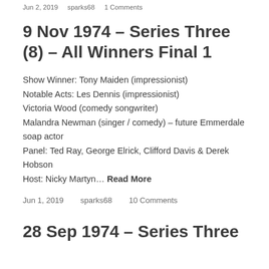Jun 2, 2019   sparks68   1 Comments
9 Nov 1974 – Series Three (8) – All Winners Final 1
Show Winner: Tony Maiden (impressionist)
Notable Acts: Les Dennis (impressionist)
Victoria Wood (comedy songwriter)
Malandra Newman (singer / comedy) – future Emmerdale soap actor
Panel: Ted Ray, George Elrick, Clifford Davis & Derek Hobson
Host: Nicky Martyn… Read More
Jun 1, 2019   sparks68   10 Comments
28 Sep 1974 – Series Three